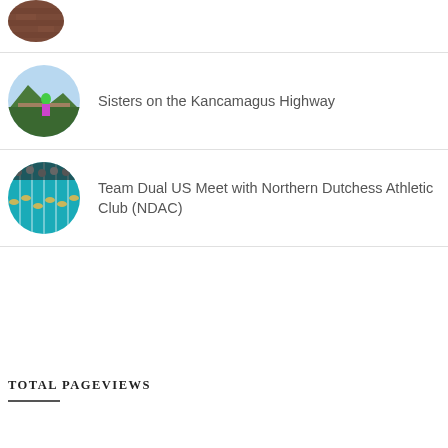[Figure (photo): Circular thumbnail of brick wall or building, partially visible at top of page]
[Figure (photo): Circular thumbnail showing person in green shirt on mountain overlook on the Kancamagus Highway]
Sisters on the Kancamagus Highway
[Figure (photo): Circular thumbnail showing swimming pool with swimmers at a team dual US meet]
Team Dual US Meet with Northern Dutchess Athletic Club (NDAC)
TOTAL PAGEVIEWS